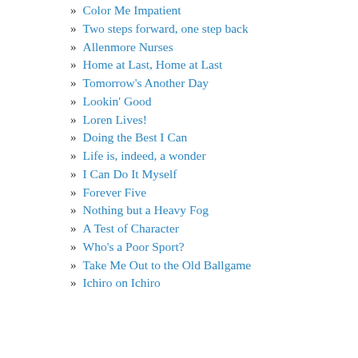» Color Me Impatient
» Two steps forward, one step back
» Allenmore Nurses
» Home at Last, Home at Last
» Tomorrow's Another Day
» Lookin' Good
» Loren Lives!
» Doing the Best I Can
» Life is, indeed, a wonder
» I Can Do It Myself
» Forever Five
» Nothing but a Heavy Fog
» A Test of Character
» Who's a Poor Sport?
» Take Me Out to the Old Ballgame
» Ichiro on Ichiro